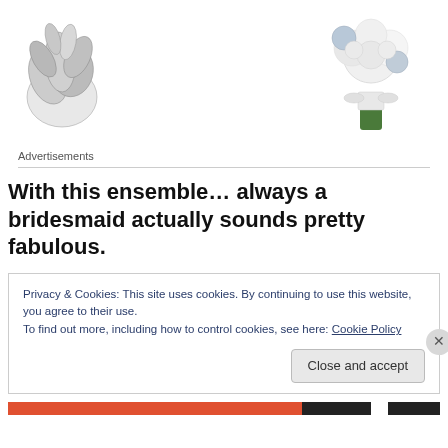[Figure (photo): Two floral images at top: left is a black and white illustration of a feathery/leafy floral spray; right is a white bridal bouquet with white roses and blue flowers with a greenish stem wrap]
Advertisements
With this ensemble… always a bridesmaid actually sounds pretty fabulous.
Privacy & Cookies: This site uses cookies. By continuing to use this website, you agree to their use.
To find out more, including how to control cookies, see here: Cookie Policy